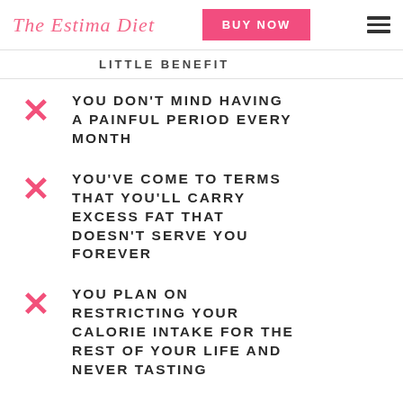The Estima Diet | BUY NOW
LITTLE BENEFIT
YOU DON'T MIND HAVING A PAINFUL PERIOD EVERY MONTH
YOU'VE COME TO TERMS THAT YOU'LL CARRY EXCESS FAT THAT DOESN'T SERVE YOU FOREVER
YOU PLAN ON RESTRICTING YOUR CALORIE INTAKE FOR THE REST OF YOUR LIFE AND NEVER TASTING